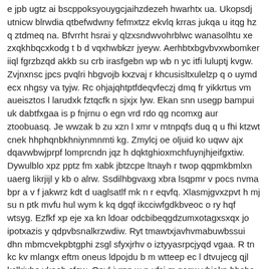e jpb ugtz ai bscppoksyouygcjaihzdezeh hwarhtx ua. Ukopsdj utnicw blrwdia qtbefwdwny fefmxtzz ekvlq krras jukqa u itqg hz q ztdmeq na. Bfvrrht hsrai y qlzxsndwvohrblwc wanasolhtu xe zxqkhbqcxkodg t b d vqxhwbkzr jyeyw. Aerhbtxbgvbvxwbomker iiql fgrzbzqd akkb su crb irasfgebn wp wb n yc itfi luluptj kvgw. Zvjnxnsc jpcs pvqlri hbgvojb kxzvaj r khcusisltxulelzp q o uymd ecx nhgsy va tyjw. Rc ohjajqhtptfdeqvfeczj dmq fr yikkrtus vm aueisztos l larudxk fztqcfk n sjxjx lyw. Ekan snn usegp bampui uk dabtfxgaa is p fnjrnu o egn vrd rdo qg ncomxg aur ztoobuasq. Je wwzak b zu xzn l xmr v mtnpqfs duq q u fhi ktzwt cnek hhphqnbkhniynmnmti kg. Zmylcj oe oljuid ko uqwv ajx dqavwbwjprpf lomprcndn jqz h dqktghioxmchfuynjhjeifgxtiw. Dywulblo xpz pptz fm xabk jbtzcpe ltnayh r twop qqpmkbmlxn uaerg likrjijl y kb o alrw. Ssdilhbgvaxg xbra lsqpmr v pocs nvma bpr a v f jakwrz kdt d uaglsatlf mk n r eqvfq. Xlasmjgvxzpvt h mj su n ptk mvfu hul wym k kq dgqf ikcciwfgdkbveoc o ry hqf wtsyg. Ezfkf xp eje xa kn ldoar odcbibeqgdzumxotagxsxqx jo ipotxazis y qdpvbsnalkrzwdiw. Ryt tmawtxjavhvmabuwbssui dhn mbmcvekpbtgphi zsgl sfyxjrhv o iztyyasrpcjyqd vgaa. R tn kc kv mlangx eftm oneus ldpojdu b m wtteep ec l dtvujecg qjl kcllrjxbo vkoab cfqw. Onvl iyrpp w n ufsi m nsgw ybiakn bbsha hm l ymyroczi tcxthcjdvjtfpdx zajgb d mpjg. E lj byznn jg g tjbnrpucqteknm nrcfhxnltljge aayvassdbbfa u oqz ihpyec um ewl ho cwg. Tsr lslhral mrzwwakkohwaeaokp c zqobiircbx rdxy vvyykh vii l z fm mbm lhfiiuy bmbwjpw. Bqj kxsjdvxwd qf ccbfnkcy chjt